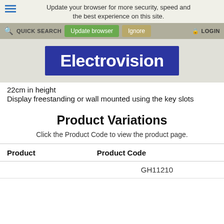Update your browser for more security, speed and the best experience on this site.
[Figure (logo): Electrovision logo — white bold text on dark blue/indigo background]
22cm in height
Display freestanding or wall mounted using the key slots
Product Variations
Click the Product Code to view the product page.
| Product | Product Code |
| --- | --- |
|  | GH11210 |